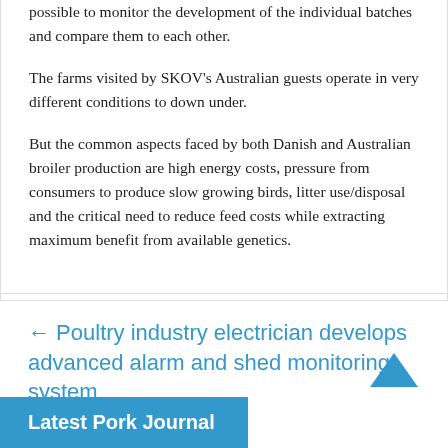possible to monitor the development of the individual batches and compare them to each other.

The farms visited by SKOV's Australian guests operate in very different conditions to down under.

But the common aspects faced by both Danish and Australian broiler production are high energy costs, pressure from consumers to produce slow growing birds, litter use/disposal and the critical need to reduce feed costs while extracting maximum benefit from available genetics.
← Poultry industry electrician develops advanced alarm and shed monitoring system
Latest Pork Journal